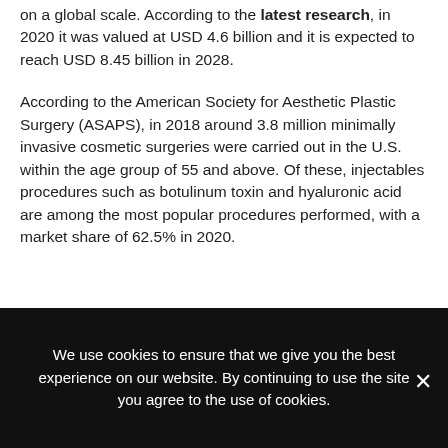on a global scale. According to the latest research, in 2020 it was valued at USD 4.6 billion and it is expected to reach USD 8.45 billion in 2028.
According to the American Society for Aesthetic Plastic Surgery (ASAPS), in 2018 around 3.8 million minimally invasive cosmetic surgeries were carried out in the U.S. within the age group of 55 and above. Of these, injectables procedures such as botulinum toxin and hyaluronic acid are among the most popular procedures performed, with a market share of 62.5% in 2020.
We use cookies to ensure that we give you the best experience on our website. By continuing to use the site you agree to the use of cookies.